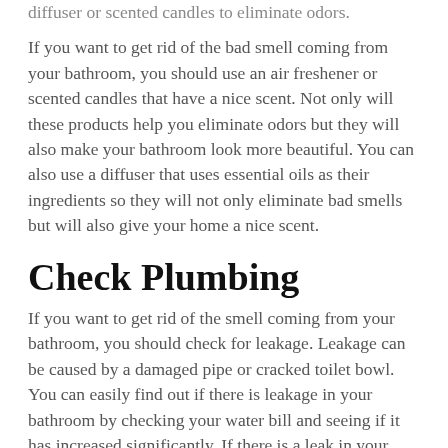diffuser or scented candles to eliminate odors.
If you want to get rid of the bad smell coming from your bathroom, you should use an air freshener or scented candles that have a nice scent. Not only will these products help you eliminate odors but they will also make your bathroom look more beautiful. You can also use a diffuser that uses essential oils as their ingredients so they will not only eliminate bad smells but will also give your home a nice scent.
Check Plumbing
If you want to get rid of the smell coming from your bathroom, you should check for leakage. Leakage can be caused by a damaged pipe or cracked toilet bowl. You can easily find out if there is leakage in your bathroom by checking your water bill and seeing if it has increased significantly. If there is a leak in your bathroom, you will need to call plumbing services Perth immediately so they can fix it before it causes more damage.